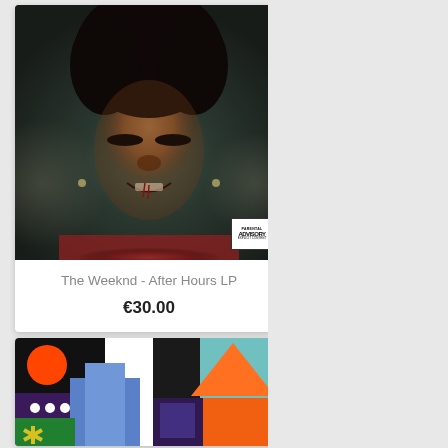[Figure (photo): Album cover for The Weeknd - After Hours LP showing a close-up portrait of The Weeknd looking upward with a slight smile, dark moody lighting with red accents. Parental Advisory Explicit Content badge in bottom right corner.]
The Weeknd - After Hours LP
€30.00
[Figure (photo): Album cover art showing a colorful mosaic/collage of geometric shapes including circles, crosses, and triangles in bright colors: orange, red, blue, purple, green, black on multicolored backgrounds.]